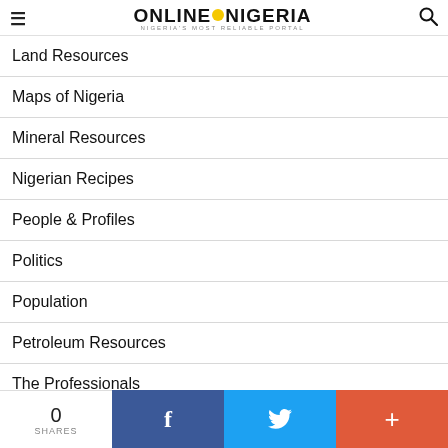ONLINE NIGERIA — Nigeria's Most Reliable Portal
Land Resources
Maps of Nigeria
Mineral Resources
Nigerian Recipes
People & Profiles
Politics
Population
Petroleum Resources
The Professionals
Travel & Tourism
0 SHARES  f  (Twitter)  +